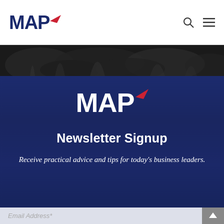MAP [logo with red arrow]
[Figure (photo): Dark nature/tree aerial photo banner]
[Figure (logo): MAP logo with red arrow accent in white text on dark blue background]
Newsletter Signup
Receive practical advice and tips for today's business leaders.